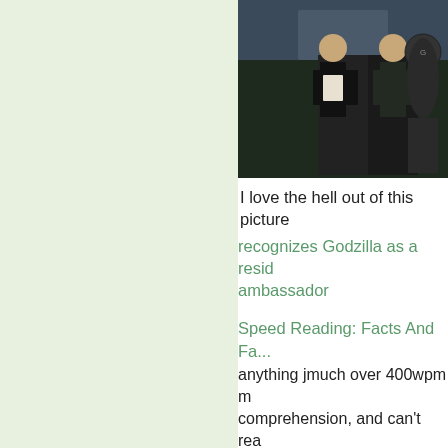[Figure (photo): Two men in suits and a Godzilla figure/costume standing together, one man holding a certificate/document, outdoors at night with city lights in background]
I love the hell out of this picture
recognizes Godzilla as a resident ambassador
Speed Reading: Facts And Fa...
anything jmuch over 400wpm means no comprehension, and can't real... (reading) What kinda worries me people do "read" at 400+ wpm... comprehension. I'd rather read... more. However, I am a bit worr th...